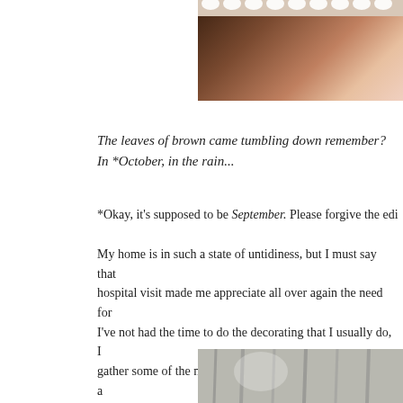[Figure (photo): Partial view of a dark brown decorated item with white lace or doily trim at the top, and a pale pink/peach background. Top-right portion of page.]
The leaves of brown came tumbling down remember?
In *October, in the rain...
*Okay, it's supposed to be September. Please forgive the edi
My home is in such a state of untidiness, but I must say that hospital visit made me appreciate all over again the need for I've not had the time to do the decorating that I usually do, I gather some of the nicest leaves, place them individually in a books. Today they "float" in the apothecary jar and are so re as I usually do, I've been using this book entitled "How to Fi page. That special little fairy featured on the right is John's m
[Figure (photo): Gray weathered wooden planks or barn siding, bottom-right of page.]